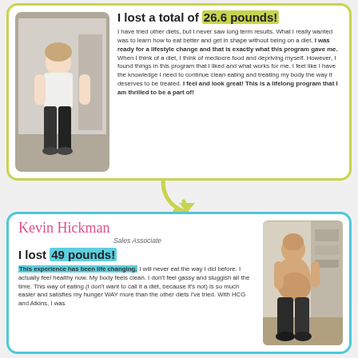I lost a total of 26.6 pounds!
I have tried other diets, but I never saw long term results. What I really wanted was to learn how to eat better and get in shape without being on a diet. I was ready for a lifestyle change and that is exactly what this program gave me. When I think of a diet, I think of mediocre food and depriving myself. However, I found things in this program that I liked and what works for me. I feel like I have the knowledge I need to continue clean eating and treating my body the way it deserves to be treated. I feel and look great! This is a lifelong program that I am thrilled to be a part of!
[Figure (photo): Before photo of a woman standing, wearing white top and black pants]
Kevin Hickman
Sales Associate
I lost 49 pounds!
This experience has been life changing. I will never eat the way I did before. I actually feel healthy now. My body feels clean. I don't feel gassy and sluggish all the time. This way of eating (I don't want to call it a diet, because it's not) is so much easier and satisfies my hunger WAY more than the other diets I've tried. With HCG and Atkins, I was
[Figure (photo): Before photo of a heavyset man, shirtless, standing in a room]